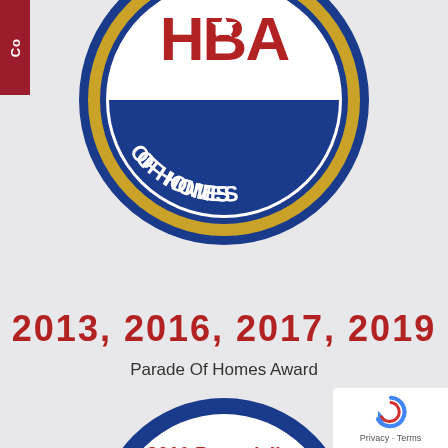[Figure (logo): HBA Parade of Homes award circular logo — blue circle with gold ring, red 'HBA' letters with star, text 'OF HOMES' on blue arc, partially cropped at top of page]
2013, 2016, 2017, 2019
Parade Of Homes Award
[Figure (logo): HBA 2016 Remodeling award circular logo — white circle with blue border, red italic '2016 Remodeling' text, blue house silhouette, red 'HBA' letters with star, 'SOUTHEASTERN MICHIGAN' text at bottom, partially cropped]
[Figure (other): Google reCAPTCHA widget badge in bottom-right corner with circular arrow icon and 'Privacy · Terms' text]